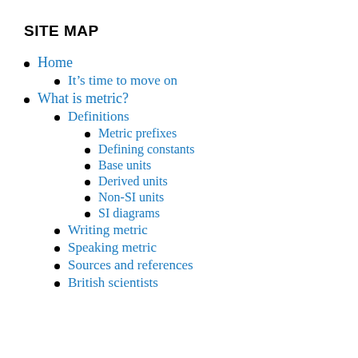SITE MAP
Home
It’s time to move on
What is metric?
Definitions
Metric prefixes
Defining constants
Base units
Derived units
Non-SI units
SI diagrams
Writing metric
Speaking metric
Sources and references
British scientists